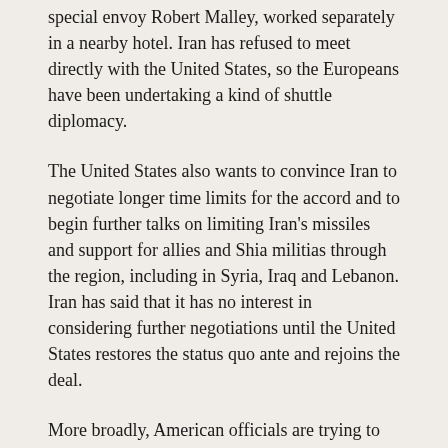special envoy Robert Malley, worked separately in a nearby hotel. Iran has refused to meet directly with the United States, so the Europeans have been undertaking a kind of shuttle diplomacy.
The United States also wants to convince Iran to negotiate longer time limits for the accord and to begin further talks on limiting Iran's missiles and support for allies and Shia militias through the region, including in Syria, Iraq and Lebanon. Iran has said that it has no interest in considering further negotiations until the United States restores the status quo ante and rejoins the deal.
More broadly, American officials are trying to gauge whether the United States and Iran can agree on how each can come back into compliance with the nuclear